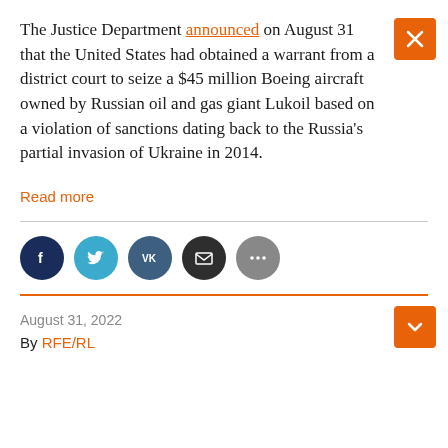The Justice Department announced on August 31 that the United States had obtained a warrant from a district court to seize a $45 million Boeing aircraft owned by Russian oil and gas giant Lukoil based on a violation of sanctions dating back to the Russia's partial invasion of Ukraine in 2014.
Read more
[Figure (infographic): Social sharing icons: Facebook, Twitter, VK, Email, More]
August 31, 2022
By RFE/RL